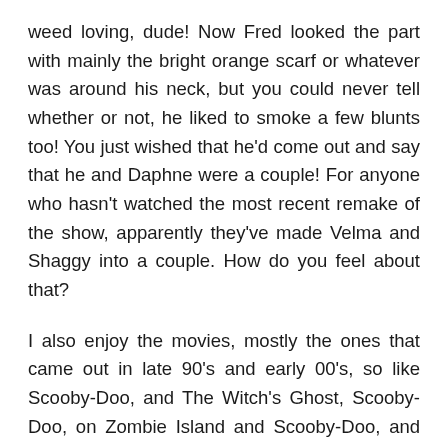weed loving, dude! Now Fred looked the part with mainly the bright orange scarf or whatever was around his neck, but you could never tell whether or not, he liked to smoke a few blunts too! You just wished that he'd come out and say that he and Daphne were a couple! For anyone who hasn't watched the most recent remake of the show, apparently they've made Velma and Shaggy into a couple. How do you feel about that?
I also enjoy the movies, mostly the ones that came out in late 90's and early 00's, so like Scooby-Doo, and The Witch's Ghost, Scooby-Doo, on Zombie Island and Scooby-Doo, and The Alien Invaders. There is one film that came out in 1988 called Scooby-Doo and The Ghoul School. It is about Shaggy, Scooby and his little (brave) nephew Scrappy-Doo become volleyball coaches at a spooky ghoul school full of young daughters of different and infamous characters, like